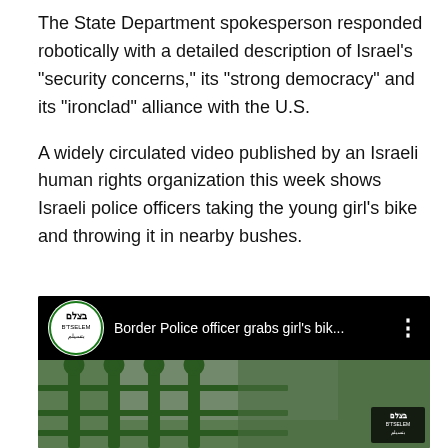The State Department spokesperson responded robotically with a detailed description of Israel's "security concerns," its "strong democracy" and its "ironclad" alliance with the U.S.
A widely circulated video published by an Israeli human rights organization this week shows Israeli police officers taking the young girl's bike and throwing it in nearby bushes.
[Figure (screenshot): Screenshot of a YouTube video thumbnail showing the B'Tselem logo and the title 'Border Police officer grabs girl's bik...' with a video still showing green fence/bike in the background and a B'Tselem watermark.]